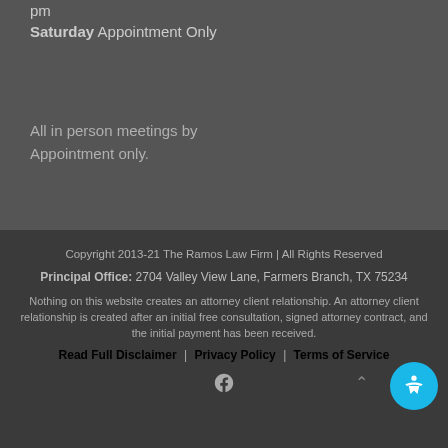pm
Saturday Appointment Only
All in person meetings by Appointment only.
Copyright 2013-21 The Ramos Law Firm | All Rights Reserved
Principal Office: 2704 Valley View Lane, Farmers Branch, TX 75234
Nothing on this website creates an attorney client relationship. An attorney client relationship is created after an initial free consultation, signed attorney contract, and the initial payment has been received.
Read Full Disclaimer | Privacy Policy | Terms of Service